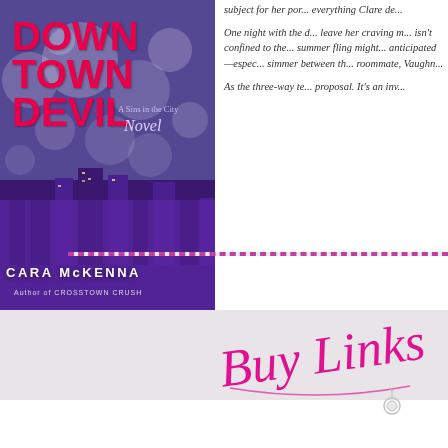[Figure (illustration): Book cover for 'Downtown Devil: A Sins in the City Novel' by Cara McKenna, Author of Crosstown Crush. Purple and blue cityscape background with bokeh lights, red title text.]
subject for her por... everything Clare de...
One night with the d... leave her craving m... isn't confined to the... summer fling might... anticipated—espec... simmer between th... roommate, Vaughn...
As the three-way te... proposal. It's an inv... erotic encounter she'll never be able to forget. Caught up betwe... to get all the excitement she's been looking for—and then some...
[Figure (illustration): Stylized cursive script reading 'Buy Links' in magenta/pink color with decorative flourishes and a small circular pendant element.]